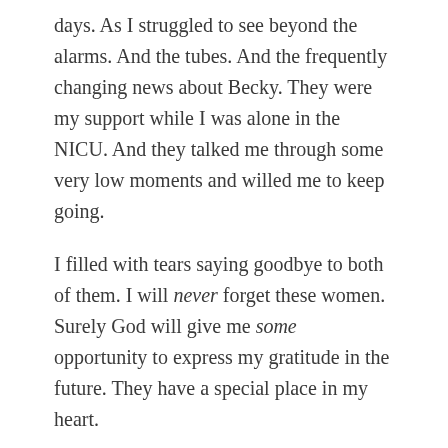days. As I struggled to see beyond the alarms. And the tubes. And the frequently changing news about Becky. They were my support while I was alone in the NICU. And they talked me through some very low moments and willed me to keep going.
I filled with tears saying goodbye to both of them. I will never forget these women. Surely God will give me some opportunity to express my gratitude in the future. They have a special place in my heart.
Funny. I keep using the word heart. How utterly and unspeakably amazing that God has used Becky's broken heart to touch mine so deeply.